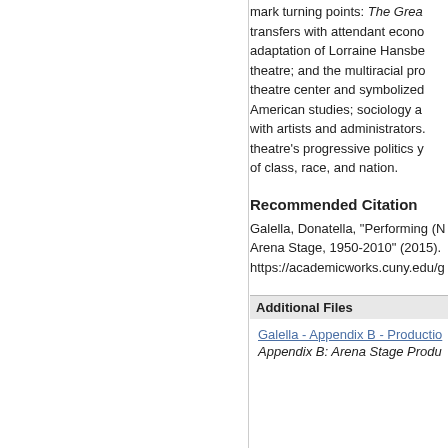mark turning points: The Grea... transfers with attendant econo... adaptation of Lorraine Hansbe... theatre; and the multiracial pro... theatre center and symbolized... American studies; sociology a... with artists and administrators.... theatre's progressive politics y... of class, race, and nation.
Recommended Citation
Galella, Donatella, "Performing (N... Arena Stage, 1950-2010" (2015). https://academicworks.cuny.edu/g...
Additional Files
Galella - Appendix B - Productio...
Appendix B: Arena Stage Produ...